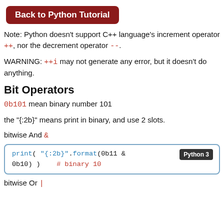Back to Python Tutorial
Note: Python doesn't support C++ language's increment operator ++, nor the decrement operator --.
WARNING: ++i may not generate any error, but it doesn't do anything.
Bit Operators
0b101 mean binary number 101
the "{:2b}" means print in binary, and use 2 slots.
bitwise And &
[Figure (screenshot): Python 3 code block: print( "{:2b}".format(0b11 & 0b10) )    # binary 10]
bitwise Or |